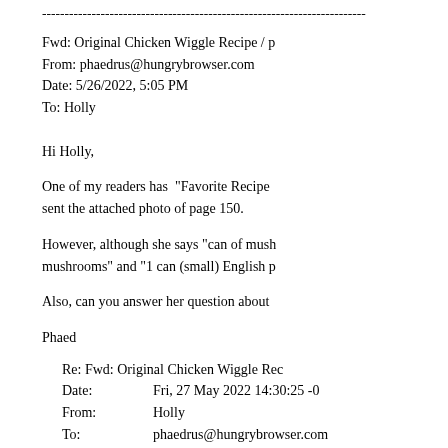------------------------------------------------------------------------
Fwd: Original Chicken Wiggle Recipe / p
From: phaedrus@hungrybrowser.com
Date: 5/26/2022, 5:05 PM
To: Holly
Hi Holly,
One of my readers has "Favorite Recipe sent the attached photo of page 150.
However, although she says "can of mush mushrooms" and "1 can (small) English p
Also, can you answer her question about
Phaed
Re: Fwd: Original Chicken Wiggle Rec
Date:        Fri, 27 May 2022 14:30:25 -0
From:        Holly
To:    phaedrus@hungrybrowser.com
Phaed